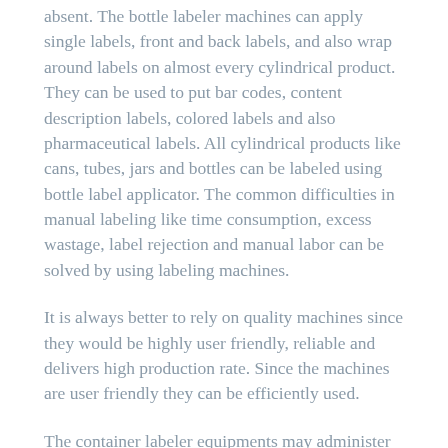absent. The bottle labeler machines can apply single labels, front and back labels, and also wrap around labels on almost every cylindrical product. They can be used to put bar codes, content description labels, colored labels and also pharmaceutical labels. All cylindrical products like cans, tubes, jars and bottles can be labeled using bottle label applicator. The common difficulties in manual labeling like time consumption, excess wastage, label rejection and manual labor can be solved by using labeling machines.
It is always better to rely on quality machines since they would be highly user friendly, reliable and delivers high production rate. Since the machines are user friendly they can be efficiently used.
The container labeler equipments may administer solitary tags, front end and also back tags, as well as likewise cover around tags on virtually every round item. They sticker labeling machine manufacturers may be actually used to put bar codes, content description labels, colored labels and also pharmaceutical labels.